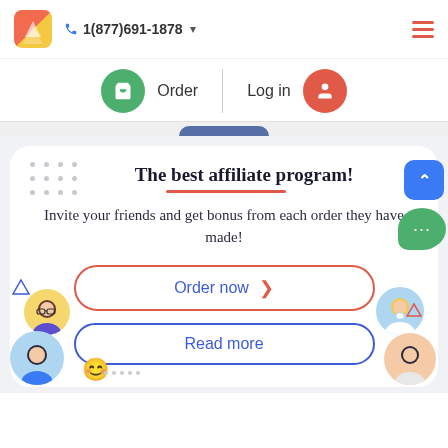1(877)691-1878
Order | Log in
The best affiliate program!
Invite your friends and get bonus from each order they have made!
Order now
Read more